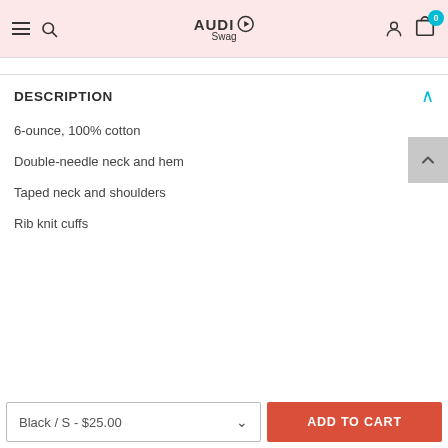AUDIO Swag – navigation header with hamburger, search, logo, account, and cart (0 items)
DESCRIPTION
6-ounce, 100% cotton
Double-needle neck and hem
Taped neck and shoulders
Rib knit cuffs
Black / S - $25.00
ADD TO CART